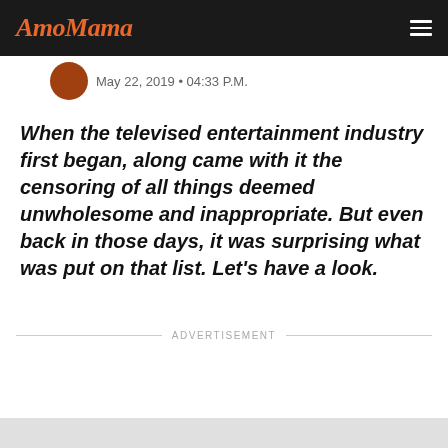AmoMama
May 22, 2019 • 04:33 P.M.
When the televised entertainment industry first began, along came with it the censoring of all things deemed unwholesome and inappropriate. But even back in those days, it was surprising what was put on that list. Let's have a look.
ADVERTISEMENT